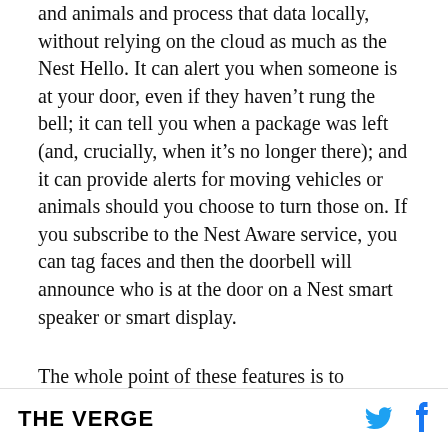and animals and process that data locally, without relying on the cloud as much as the Nest Hello. It can alert you when someone is at your door, even if they haven't rung the bell; it can tell you when a package was left (and, crucially, when it's no longer there); and it can provide alerts for moving vehicles or animals should you choose to turn those on. If you subscribe to the Nest Aware service, you can tag faces and then the doorbell will announce who is at the door on a Nest smart speaker or smart display.
The whole point of these features is to provide notifications for things you actually care about and
THE VERGE